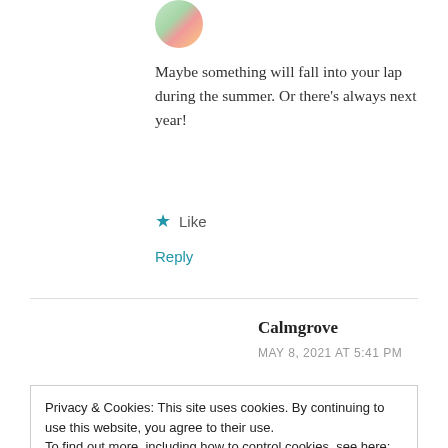[Figure (photo): Small circular avatar image at top, partially visible]
Maybe something will fall into your lap during the summer. Or there’s always next year!
★ Like
Reply
Calmgrove
MAY 8, 2021 AT 5:41 PM
Ooh, you temptress! Luckily I think I may be able to
Privacy & Cookies: This site uses cookies. By continuing to use this website, you agree to their use.
To find out more, including how to control cookies, see here: Cookie Policy
Close and accept